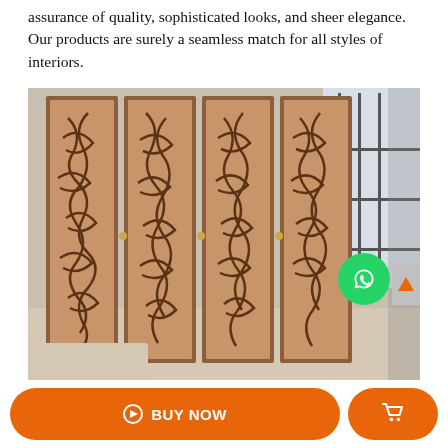assurance of quality, sophisticated looks, and sheer elegance. Our products are surely a seamless match for all styles of interiors.
[Figure (photo): An ornate decorative room divider/screen with four panels featuring intricate scrollwork and floral ironwork patterns in a bronze/dark brown finish, photographed in a bright interior room setting.]
BUY NOW
[Figure (other): Shopping cart icon button in orange]